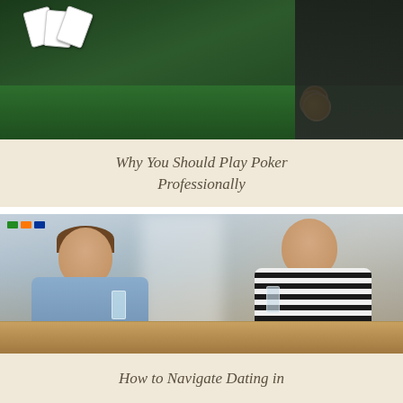[Figure (photo): Poker table with playing cards and gold chips on green felt, dark background on right side]
Why You Should Play Poker Professionally
[Figure (photo): Young man in blue shirt and woman in striped dress sitting at a restaurant table, smiling and holding glasses]
How to Navigate Dating in